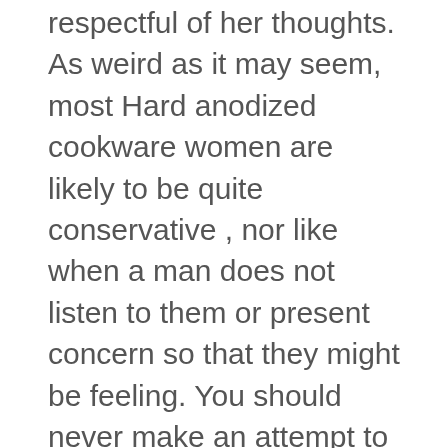respectful of her thoughts. As weird as it may seem, most Hard anodized cookware women are likely to be quite conservative , nor like when a man does not listen to them or present concern so that they might be feeling. You should never make an attempt to force her to open your choice or talk about any of her emotions since it will only finish up hurting her. By respecting her thoughts, you will find that you are more effective in keeping her content.
The dating suggestions for keeping Oriental women content are simple, but are very effective. You simply have to understand her tradition, beliefs, and general outlook on life.